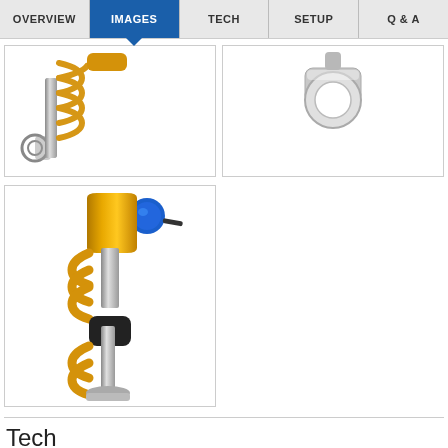OVERVIEW | IMAGES | TECH | SETUP | Q & A
[Figure (photo): Close-up photo of a golden/yellow coil-over shock absorber with metal eye mount, partial view showing spring and lower mounting hardware]
[Figure (photo): Close-up photo of the upper mounting eye/clevis of a shock absorber, metallic silver finish with circular eye hole]
[Figure (photo): Full view of a golden/yellow coil-over shock absorber with blue compression adjuster knob at the top, showing the full coil spring and damper body]
Tech